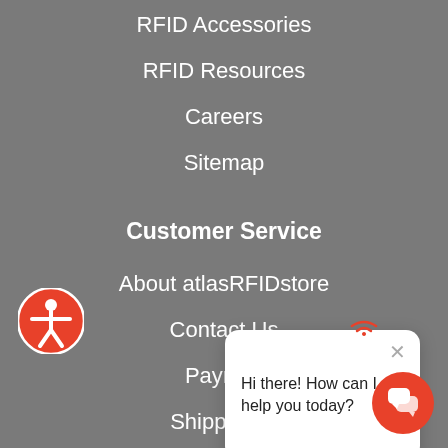RFID Accessories
RFID Resources
Careers
Sitemap
Customer Service
About atlasRFIDstore
Contact Us
Pay…
Shipp…
Hard…pp…
Return Policy
Privacy Policy
Cookie Policy
[Figure (illustration): Accessibility icon — orange circle with white wheelchair-accessibility person figure]
[Figure (screenshot): Chat popup with wifi icon at top, close X button, and text 'Hi there! How can I help you today?']
[Figure (illustration): Orange circle chat button icon at bottom right]